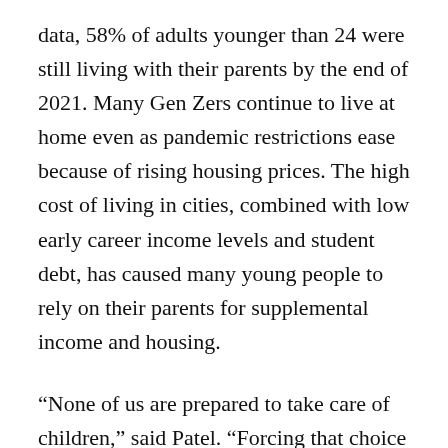data, 58% of adults younger than 24 were still living with their parents by the end of 2021. Many Gen Zers continue to live at home even as pandemic restrictions ease because of rising housing prices. The high cost of living in cities, combined with low early career income levels and student debt, has caused many young people to rely on their parents for supplemental income and housing.
“None of us are prepared to take care of children,” said Patel. “Forcing that choice on someone is such a cruel, inhuman thing to do.”
BIPOC bear disproportionate risks with